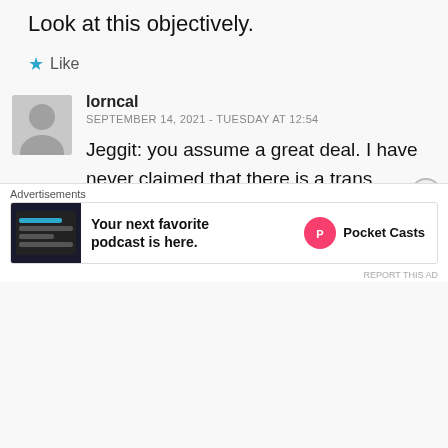Look at this objectively.
★ Like
lorncal
SEPTEMBER 14, 2021 - TUESDAY AT 12:54
Jeggit: you assume a great deal. I have never claimed that there is a trans conspiracy. Actually, I think it is in the fall of the cards that all this has come about. Pure chance, in other
[Figure (screenshot): Advertisement banner for Pocket Casts podcast app with dark screenshot of the app interface]
Advertisements
Your next favorite podcast is here.
Pocket Casts